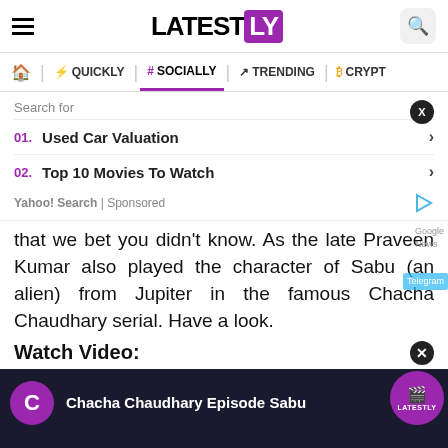LATESTLY
QUICKLY | # SOCIALLY | TRENDING | CRYPTO
Search for
01. Used Car Valuation
02. Top 10 Movies To Watch
Yahoo! Search | Sponsored
that we bet you didn't know. As the late Praveen Kumar also played the character of Sabu (an alien) from Jupiter in the famous Chacha Chaudhary serial. Have a look.
Watch Video:
[Figure (screenshot): Video thumbnail showing Chacha Chaudhary Episode Sabu with purple circle logo and LATESTLY badge]
[Figure (screenshot): Advertisement banner for BitLife game with GOD MODE feature]